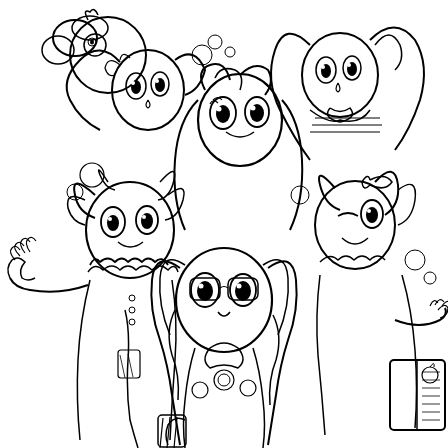[Figure (illustration): A black-and-white coloring page illustration featuring a group of seven anime-style chibi characters (resembling My Little Pony: Equestria Girls characters). The characters are arranged in a close group portrait composition. They have large expressive eyes, various hairstyles, and are wearing different outfits. One character at the top left has animal-ear-like hair and a round companion creature. The characters are drawn in a detailed line-art style typical of coloring books, with no color fill — only black outlines on a white background.]